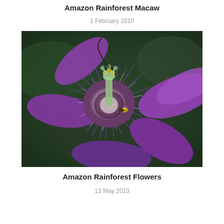Amazon Rainforest Macaw
1 February 2010
[Figure (photo): Close-up macro photograph of a purple passionflower (Passiflora) with vivid violet and purple petals, intricate corona filaments in purple and white, and a green central staminal column with yellow anthers. A small bee or hoverfly is visible near the center. Background is dark green bokeh.]
Amazon Rainforest Flowers
13 May 2013